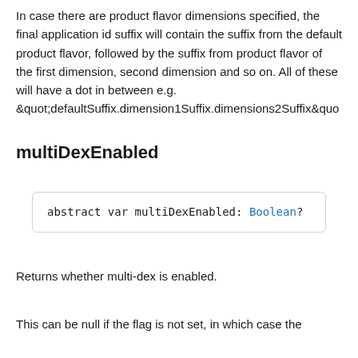In case there are product flavor dimensions specified, the final application id suffix will contain the suffix from the default product flavor, followed by the suffix from product flavor of the first dimension, second dimension and so on. All of these will have a dot in between e.g. &quot;defaultSuffix.dimension1Suffix.dimensions2Suffix&quo
multiDexEnabled
abstract var multiDexEnabled: Boolean?
Returns whether multi-dex is enabled.
This can be null if the flag is not set, in which case the